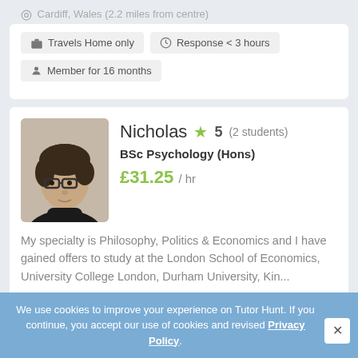Cardiff, Wales (2.2 miles from centre)
Travels Home only
Response < 3 hours
Member for 16 months
[Figure (photo): Portrait photo of Nicholas, a young man with glasses and dark curly hair wearing a black turtleneck]
Nicholas ★ 5 (2 students)
BSc Psychology (Hons)
£31.25 / hr
My specialty is Philosophy, Politics & Economics and I have gained offers to study at the London School of Economics, University College London, Durham University, Kin...
Wales (2.2 miles from centre)
Travels Home only
Response < 2 hours
We use cookies to improve your experience on Tutor Hunt. If you continue, you accept our use of cookies and revised Privacy Policy.